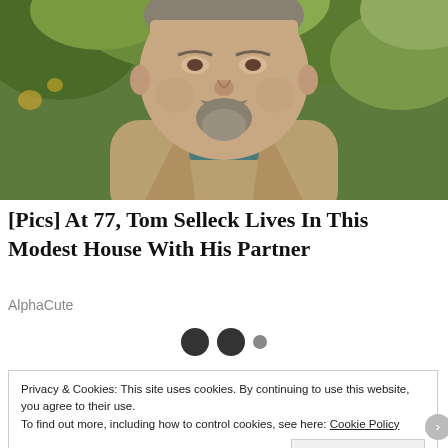[Figure (photo): Close-up photograph of a middle-aged man with a grey goatee beard and moustache, wearing a tan/beige jacket, with green foliage in the background.]
[Pics] At 77, Tom Selleck Lives In This Modest House With His Partner
AlphaCute
[Figure (other): Carousel navigation dots: two large dark filled circles and one smaller grey circle.]
Privacy & Cookies: This site uses cookies. By continuing to use this website, you agree to their use.
To find out more, including how to control cookies, see here: Cookie Policy
Close and accept